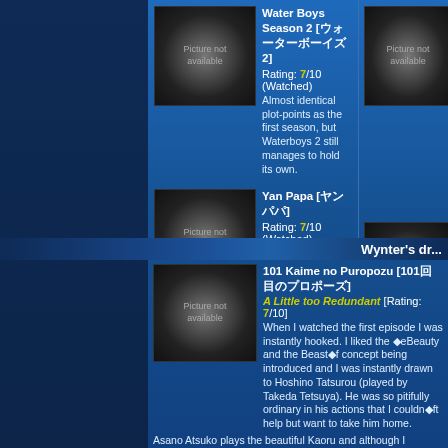Water Boys Season 2 [ウォーターボーイズ2]
Rating: 7/10 (Watched)
Almost identical plot-points as the first season, but Waterboys 2 still manages to hold its own.
Wedding P...
Rating: 9/1...
This was am... does the ca... Satoshi-kun... THEM) were... heartwarmin...
Yan Papa [ヤンパパ]
Rating: 7/10 (Watched)
A very mediocre drama. It took me a while to get through it.
Yasashii J...
Rating: 10/...
This drama... drinking a fr... recommend... beauty.
Wynter's dr...
101 Kaime no Puropozu [101回目のプロポーズ]
A Little too Redundant [Rating: 7/10]
When I watched the first episode I was instantly hooked. I liked the ◆eBeauty and the Beast◆f concept being introduced and I was instantly drawn to Hoshino Tatsurou (played by Takeda Tetsuya). He was so pitifully ordinary in his actions that I couldn◆ft help but want to take him home.
Asano Atsuko plays the beautiful Kaoru and although I thought she was appropriately cast, the character of Kaoru is what gradually decreased my overall enjoyment of the show. Kaoru is so insufferably annoying in her selfish, undeceive natu... I wanted to slap her every time she was on screen. The plot was redundant. The misunderstandings were too repetitive, too short lived, and most were unnecessary. Th... saving grace for me was the supporting cast. For the first time since Lunch Queen I rea... enjoyed Eguchi Yosuke◆fs character. Even his hair was forgivable because he played such a wonderful character! Tanaka Ritsuko was delightful to watch and her character◆... interaction with Yosuke◆fs was grand. By the end of the show I thought it was good, b... it was a disappointment after my anticipation off the first episode.